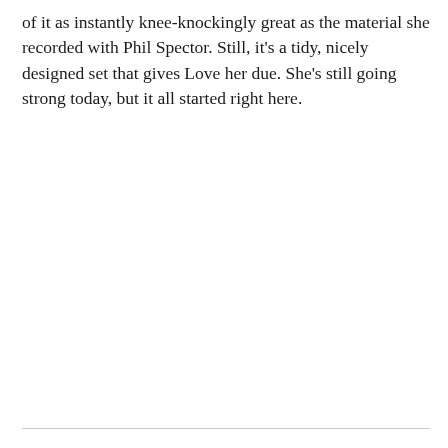of it as instantly knee-knockingly great as the material she recorded with Phil Spector. Still, it's a tidy, nicely designed set that gives Love her due. She's still going strong today, but it all started right here.